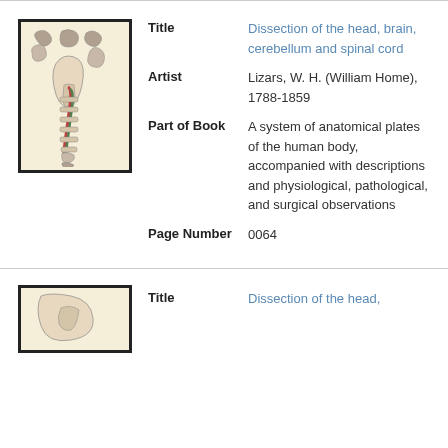[Figure (illustration): Anatomical illustration showing dissection of head, brain, cerebellum and spinal cord with multiple views]
Title
Dissection of the head, brain, cerebellum and spinal cord
Artist
Lizars, W. H. (William Home), 1788-1859
Part of Book
A system of anatomical plates of the human body, accompanied with descriptions and physiological, pathological, and surgical observations
Page Number
0064
[Figure (illustration): Second anatomical illustration (partially visible)]
Title
Dissection of the head,